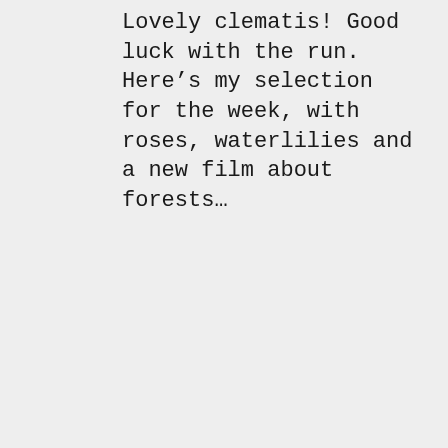Lovely clematis! Good luck with the run. Here's my selection for the week, with roses, waterlilies and a new film about forests…